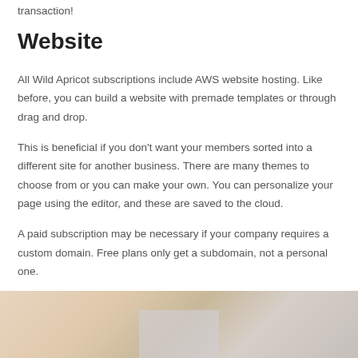transaction!
Website
All Wild Apricot subscriptions include AWS website hosting. Like before, you can build a website with premade templates or through drag and drop.
This is beneficial if you don’t want your members sorted into a different site for another business. There are many themes to choose from or you can make your own. You can personalize your page using the editor, and these are saved to the cloud.
A paid subscription may be necessary if your company requires a custom domain. Free plans only get a subdomain, not a personal one.
[Figure (photo): A close-up photo of a light wooden surface with a pale blue/grey card or device partially visible in the lower center portion of the image.]